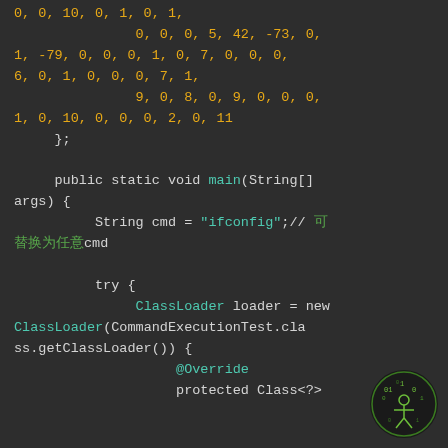Code snippet showing Java bytecode array, main method, ClassLoader usage with @Override annotation